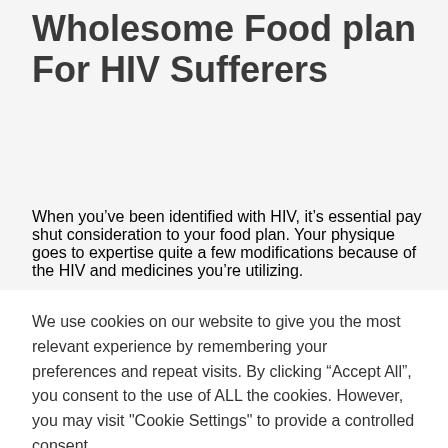Wholesome Food plan For HIV Sufferers
When you’ve been identified with HIV, it’s essential pay shut consideration to your food plan. Your physique goes to expertise quite a few modifications because of the HIV and medicines you’re utilizing.
Sadly, you would possibly expertise repercussions equivalent to weight reduction, diarrhea, and
We use cookies on our website to give you the most relevant experience by remembering your preferences and repeat visits. By clicking “Accept All”, you consent to the use of ALL the cookies. However, you may visit "Cookie Settings" to provide a controlled consent.
Cookie Settings | Accept All